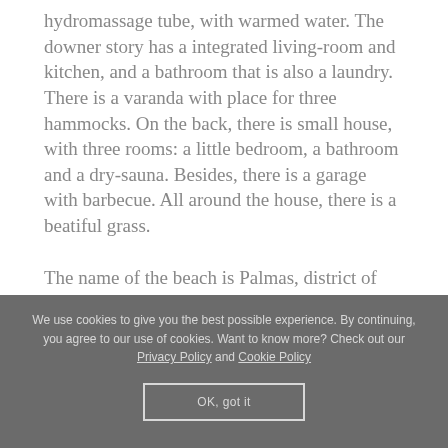hydromassage tube, with warmed water. The downer story has a integrated living-room and kitchen, and a bathroom that is also a laundry. There is a varanda with place for three hammocks. On the back, there is small house, with three rooms: a little bedroom, a bathroom and a dry-sauna. Besides, there is a garage with barbecue. All around the house, there is a beatiful grass.
The name of the beach is Palmas, district of Governador Celso Ramos, state of Santa Catarina, in the south of Brazil. We have fantastic nature views (hills, the sea, small beaches, boats) all around. In december and january,
We use cookies to give you the best possible experience. By continuing, you agree to our use of cookies. Want to know more? Check out our Privacy Policy and Cookie Policy
OK, got it